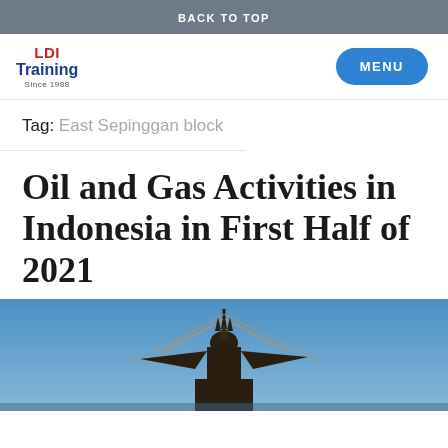BACK TO TOP
[Figure (logo): LDI Training Since 1988 logo]
Tag: East Sepinggan block
Oil and Gas Activities in Indonesia in First Half of 2021
[Figure (photo): Photo of a statue or monument against a blue sky, with equipment or rigging visible]